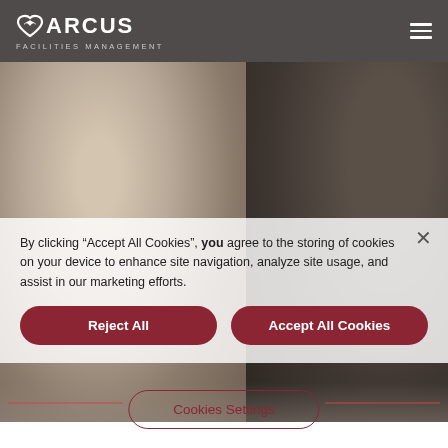MARCUS FACILITIES MANAGEMENT
[Figure (photo): Business meeting photo: woman with curly hair in white blouse holding a pen and gesturing at documents, man in background, office setting with laptop and window]
By clicking “Accept All Cookies”, you agree to the storing of cookies on your device to enhance site navigation, analyze site usage, and assist in our marketing efforts.
Reject All
Accept All Cookies
Cookies Settings